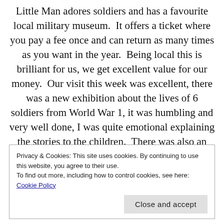Little Man adores soldiers and has a favourite local military museum.  It offers a ticket where you pay a fee once and can return as many times as you want in the year.  Being local this is brilliant for us, we get excellent value for our money.  Our visit this week was excellent, there was a new exhibition about the lives of 6 soldiers from World War 1, it was humbling and very well done, I was quite emotional explaining the stories to the children.  There was also an outdoor vehicle display at lunchtime which we enjoyed whilst having a picnic lunch on the grassy banks.  The display encouraged us to have a go in a tank, it was very rough and
Privacy & Cookies: This site uses cookies. By continuing to use this website, you agree to their use.
To find out more, including how to control cookies, see here: Cookie Policy